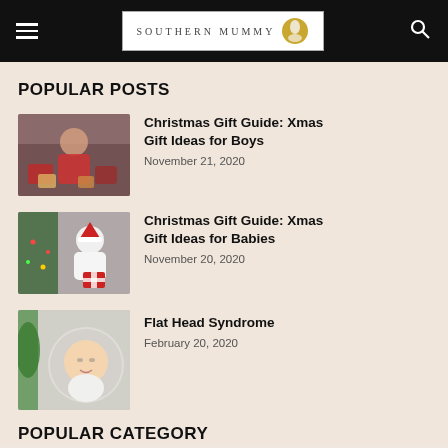Southern Mummy
POPULAR POSTS
[Figure (photo): Child in red sweater opening Christmas presents]
Christmas Gift Guide: Xmas Gift Ideas for Boys
November 21, 2020
[Figure (photo): Baby in white outfit near Christmas tree with gifts]
Christmas Gift Guide: Xmas Gift Ideas for Babies
November 20, 2020
[Figure (photo): Newborn baby photo]
Flat Head Syndrome
February 20, 2020
POPULAR CATEGORY